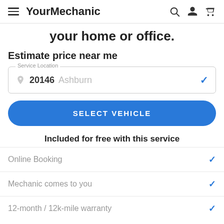YourMechanic
your home or office.
Estimate price near me
Service Location: 20146 Ashburn
SELECT VEHICLE
Included for free with this service
Online Booking
Mechanic comes to you
12-month / 12k-mile warranty